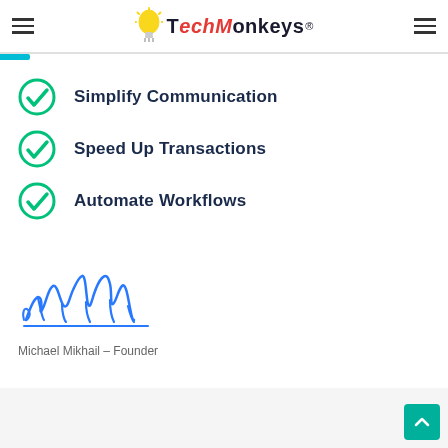TechMonkeys logo and navigation
Simplify Communication
Speed Up Transactions
Automate Workflows
[Figure (illustration): Handwritten signature in blue ink]
Michael Mikhail – Founder